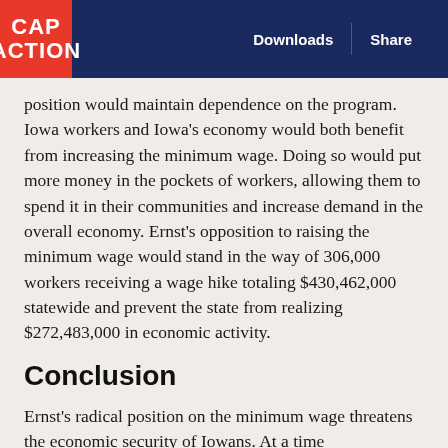CAP ACTION | Downloads | Share
position would maintain dependence on the program. Iowa workers and Iowa's economy would both benefit from increasing the minimum wage. Doing so would put more money in the pockets of workers, allowing them to spend it in their communities and increase demand in the overall economy. Ernst's opposition to raising the minimum wage would stand in the way of 306,000 workers receiving a wage hike totaling $430,462,000 statewide and prevent the state from realizing $272,483,000 in economic activity.
Conclusion
Ernst's radical position on the minimum wage threatens the economic security of Iowans. At a time when